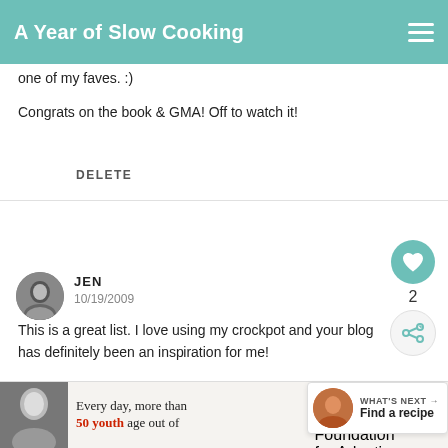A Year of Slow Cooking
one of my faves. :)
Congrats on the book & GMA! Off to watch it!
DELETE
JEN
10/19/2009
This is a great list. I love using my crockpot and your blog has definitely been an inspiration for me!
WHAT'S NEXT → Find a recipe
[Figure (infographic): Advertisement banner: photo of woman, text 'Every day, more than 50 youth age out of', Dave Thomas Foundation for Adoption logo]
[Figure (infographic): Teal circular heart/like button showing heart icon and count of 2, plus share button]